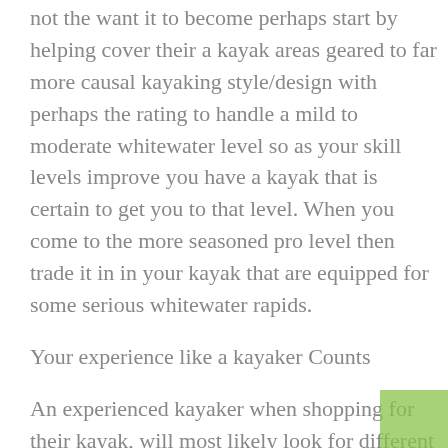not the want it to become perhaps start by helping cover their a kayak areas geared to far more causal kayaking style/design with perhaps the rating to handle a mild to moderate whitewater level so as your skill levels improve you have a kayak that is certain to get you to that level. When you come to the more seasoned pro level then trade it in in your kayak that are equipped for some serious whitewater rapids.
Your experience like a kayaker Counts
An experienced kayaker when shopping for their kayak, will most likely look for different qualities in a boat than a beginner kayaker would. A tuned person will usually look for whatever call a kayak with good final stability, while the beginner will vastly value good initial stability – less tipsiness. The tipsiness that is normal for all kayaks with low initial stability makes beginners uncomfortable and shy away, but occasion this tipsiness that generally indicates a